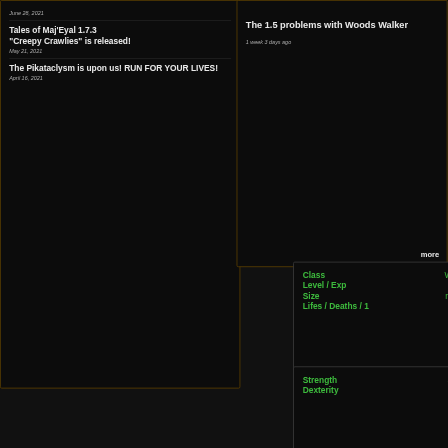June 28, 2021
Tales of Maj'Eyal 1.7.3 "Creepy Crawlies" is released!
May 21, 2021
The Pikataclysm is upon us! RUN FOR YOUR LIVES!
April 16, 2021
The 1.5 problems with Woods Walker
1 week 3 days ago
more
| Attribute | Value |
| --- | --- |
| Class | Wo... |
| Level / Exp | 12 |
| Size | me... |
| Lifes / Deaths | / 1... |
| Attribute | Value |
| --- | --- |
| Strength | 31 |
| Dexterity | 11 |